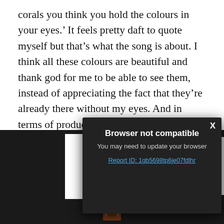corals you think you hold the colours in your eyes.' It feels pretty daft to quote myself but that's what the song is about. I think all these colours are beautiful and thank god for me to be able to see them, instead of appreciating the fact that they're already there without my eyes. And in terms of production I think it's the coolest track on the album as well. Me and my co-producer had a lon[g...] sort sounds like a [...] tried to do to kind[...]
[Figure (screenshot): A browser 'Browser not compatible' modal dialog overlay on a dark video player interface. The modal has a dark background, white bold title 'Browser not compatible', subtitle 'You may need to update your browser', a blue underlined link 'Report ID: 1gb5698tp6je07fdlhr', and a close X button. Below the modal is a video player area with a Bendy and the Ink Machine character thumbnail on the left and a 'Learn more' button in amber/orange text on a light background.]